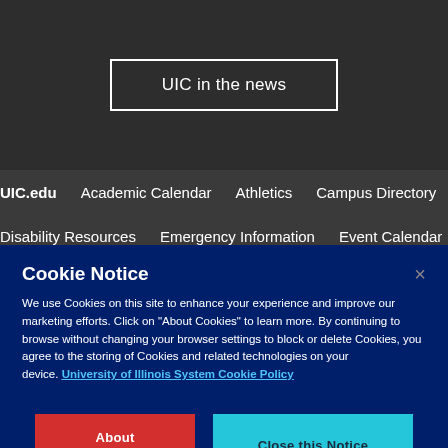UIC in the news
UIC.edu   Academic Calendar   Athletics   Campus Directory   Disability Resources   Emergency Information   Event Calendar
Cookie Notice
We use Cookies on this site to enhance your experience and improve our marketing efforts. Click on “About Cookies” to learn more. By continuing to browse without changing your browser settings to block or delete Cookies, you agree to the storing of Cookies and related technologies on your device. University of Illinois System Cookie Policy
About Cookies
Close this Notice